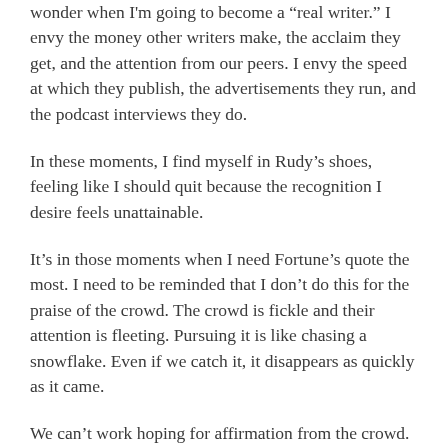wonder when I'm going to become a “real writer.” I envy the money other writers make, the acclaim they get, and the attention from our peers. I envy the speed at which they publish, the advertisements they run, and the podcast interviews they do.
In these moments, I find myself in Rudy’s shoes, feeling like I should quit because the recognition I desire feels unattainable.
It’s in those moments when I need Fortune’s quote the most. I need to be reminded that I don’t do this for the praise of the crowd. The crowd is fickle and their attention is fleeting. Pursuing it is like chasing a snowflake. Even if we catch it, it disappears as quickly as it came.
We can’t work hoping for affirmation from the crowd. We need to do our work and do it well, knowing the only person we need to prove anything to is ourselves.